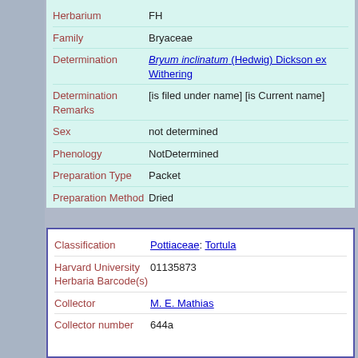| Field | Value |
| --- | --- |
| Herbarium | FH |
| Family | Bryaceae |
| Determination | Bryum inclinatum (Hedwig) Dickson ex Withering |
| Determination Remarks | [is filed under name] [is Current name] |
| Sex | not determined |
| Phenology | NotDetermined |
| Preparation Type | Packet |
| Preparation Method | Dried |
| Field | Value |
| --- | --- |
| Classification | Pottiaceae: Tortula |
| Harvard University Herbaria Barcode(s) | 01135873 |
| Collector | M. E. Mathias |
| Collector number | 644a |